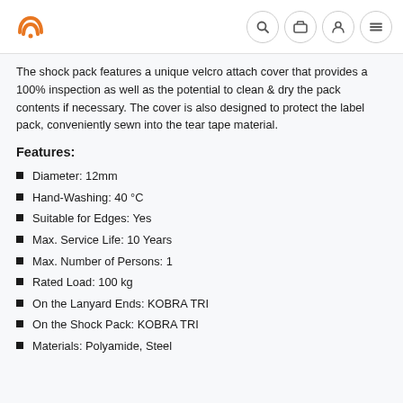Logo and navigation icons (search, cart, user, menu)
The shock pack features a unique velcro attach cover that provides a 100% inspection as well as the potential to clean & dry the pack contents if necessary. The cover is also designed to protect the label pack, conveniently sewn into the tear tape material.
Features:
Diameter: 12mm
Hand-Washing: 40 °C
Suitable for Edges: Yes
Max. Service Life: 10 Years
Max. Number of Persons: 1
Rated Load: 100 kg
On the Lanyard Ends: KOBRA TRI
On the Shock Pack: KOBRA TRI
Materials: Polyamide, Steel